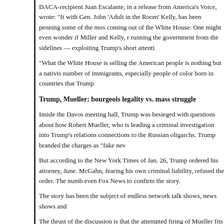DACA-recipient Juan Escalante, in a release from America’s Voice, wrote: “It with Gen. John ‘Adult in the Room’ Kelly, has been penning some of the mos coming out of the White House. One might even wonder if Miller and Kelly, r running the government from the sidelines — exploiting Trump’s short attenti
“What the White House is selling the American people is nothing but a nativis number of immigrants, especially people of color born in countries that Trump
Trump, Mueller: bourgeois legality vs. mass struggle
Inside the Davos meeting hall, Trump was besieged with questions about how Robert Mueller, who is leading a criminal investigation into Trump’s relations connections to the Russian oligarchs. Trump branded the charges as “fake nev
But according to the New York Times of Jan. 26, Trump ordered his attorney, June. McGahn, fearing his own criminal liability, refused the order. The numb even Fox News to confirm the story.
The story has been the subject of endless network talk shows, news shows and
The thrust of the discussion is that the attempted firing of Mueller fits in with James Comey to go easy on National Security Adviser Michael Flynn. When fired him.
The anti-Trump moderates and liberals are going over and over the various po violations, violations of protocol, etc., that Trump has committed.